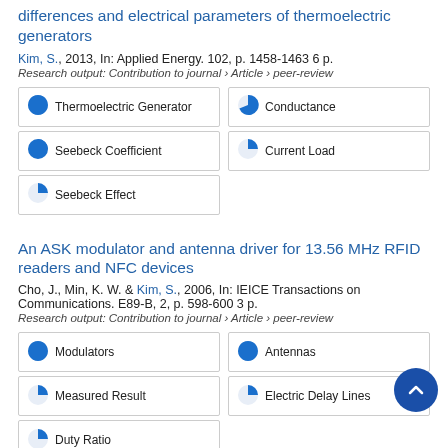differences and electrical parameters of thermoelectric generators
Kim, S., 2013, In: Applied Energy. 102, p. 1458-1463 6 p.
Research output: Contribution to journal › Article › peer-review
Thermoelectric Generator
Conductance
Seebeck Coefficient
Current Load
Seebeck Effect
An ASK modulator and antenna driver for 13.56 MHz RFID readers and NFC devices
Cho, J., Min, K. W. & Kim, S., 2006, In: IEICE Transactions on Communications. E89-B, 2, p. 598-600 3 p.
Research output: Contribution to journal › Article › peer-review
Modulators
Antennas
Measured Result
Electric Delay Lines
Duty Ratio